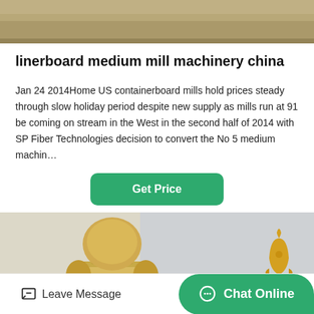[Figure (photo): Top portion of a photo showing some industrial or construction scene, cropped at top]
linerboard medium mill machinery china
Jan 24 2014Home US containerboard mills hold prices steady through slow holiday period despite new supply as mills run at 91 be coming on stream in the West in the second half of 2014 with SP Fiber Technologies decision to convert the No 5 medium machin…
[Figure (other): Green Get Price button]
[Figure (photo): Photo of a large industrial robot or machinery in yellow/tan color against a light blue sky, with a small rocket icon in the upper right]
Leave Message   Chat Online